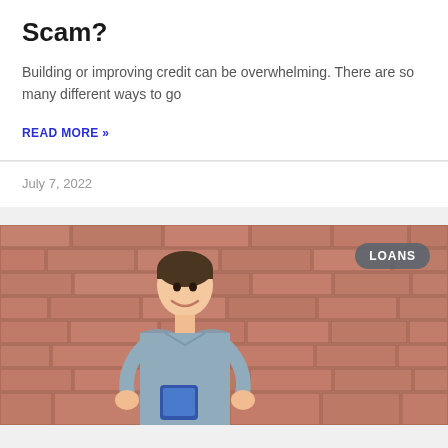Scam?
Building or improving credit can be overwhelming. There are so many different ways to go
READ MORE »
July 7, 2022
[Figure (photo): Young man smiling while looking at his phone, standing in front of a brick wall. A 'LOANS' badge is overlaid in the top right corner.]